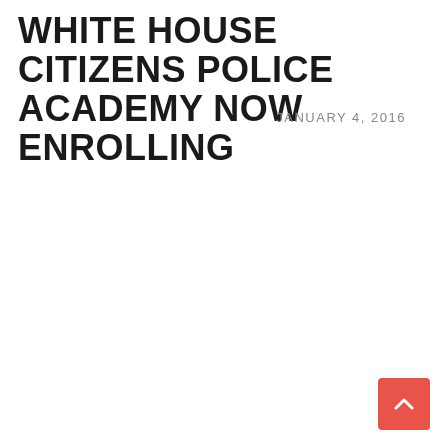WHITE HOUSE CITIZENS POLICE ACADEMY NOW ENROLLING
JANUARY 4, 2016